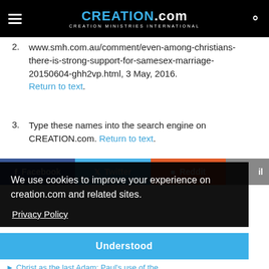CREATION.com — CREATION MINISTRIES INTERNATIONAL
2. www.smh.com.au/comment/even-among-christians-there-is-strong-support-for-samesex-marriage-20150604-ghh2vp.html, 3 May, 2016. Return to text.
3. Type these names into the search engine on CREATION.com. Return to text.
[Figure (screenshot): Social share buttons row: Facebook (dark blue), Twitter (light blue), Reddit (orange), and partially visible Email (grey) button]
We use cookies to improve your experience on creation.com and related sites.
Privacy Policy
Understood
Christ as the last Adam: Paul's use of the